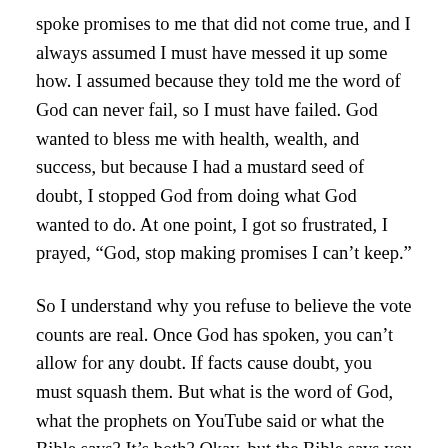spoke promises to me that did not come true, and I always assumed I must have messed it up some how. I assumed because they told me the word of God can never fail, so I must have failed. God wanted to bless me with health, wealth, and success, but because I had a mustard seed of doubt, I stopped God from doing what God wanted to do. At one point, I got so frustrated, I prayed, “God, stop making promises I can’t keep.”
So I understand why you refuse to believe the vote counts are real. Once God has spoken, you can’t allow for any doubt. If facts cause doubt, you must squash them. But what is the word of God, what the prophets on YouTube said or what the Bible says? It’s both? Okay, but the Bible says you will know false prophets